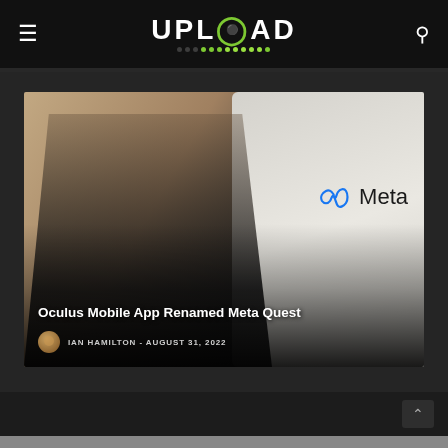UPLOAD
[Figure (photo): Screenshot of Upload VR website showing an article card with Mark Zuckerberg in a dark sweater gesturing, with a Meta logo visible on a screen behind him. Article title reads 'Oculus Mobile App Renamed Meta Quest' by Ian Hamilton, August 31, 2022.]
Oculus Mobile App Renamed Meta Quest
IAN HAMILTON - AUGUST 31, 2022